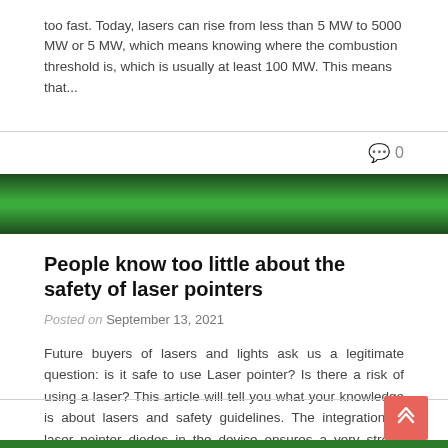too fast. Today, lasers can rise from less than 5 MW to 5000 MW or 5 MW, which means knowing where the combustion threshold is, which is usually at least 100 MW. This means that...
0
[Figure (other): Green gradient banner bar]
People know too little about the safety of laser pointers
Posted on September 13, 2021
Future buyers of lasers and lights ask us a legitimate question: is it safe to use Laser pointer? Is there a risk of using a laser? This article will tell you what your knowledge is about lasers and safety guidelines. The integration of laser pointer diodes in the device ensures a very strong diffusion of...